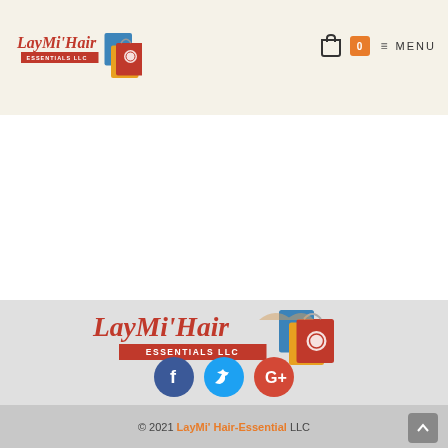[Figure (logo): LayMi' Hair Essentials LLC logo in header - script red text with shopping bags icon]
[Figure (other): Shopping bag icon with cart badge showing 0 and MENU navigation]
[Figure (logo): Large LayMi' Hair Essentials LLC logo centered in footer section]
[Figure (other): Social media icons: Facebook (blue), Twitter (light blue), Google+ (red)]
© 2021 LayMi' Hair-Essential LLC